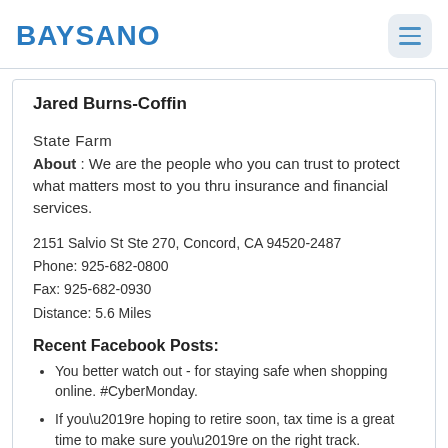BAYSANO
Jared Burns-Coffin
State Farm
About : We are the people who you can trust to protect what matters most to you thru insurance and financial services.
2151 Salvio St Ste 270, Concord, CA 94520-2487
Phone: 925-682-0800
Fax: 925-682-0930
Distance: 5.6 Miles
Recent Facebook Posts:
You better watch out - for staying safe when shopping online. #CyberMonday.
If you\u2019re hoping to retire soon, tax time is a great time to make sure you\u2019re on the right track. Let\u2019s